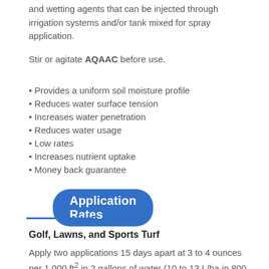and wetting agents that can be injected through irrigation systems and/or tank mixed for spray application.
Stir or agitate AQAAC before use.
• Provides a uniform soil moisture profile
• Reduces water surface tension
• Increases water penetration
• Reduces water usage
• Low rates
• Increases nutrient uptake
• Money back guarantee
Application Rates
Golf, Lawns, and Sports Turf
Apply two applications 15 days apart at 3 to 4 ounces per 1,000 ft² in 2 gallons of water (10 to 13 L/ha in 800 L). Reapply at 2 to 4 ounces per 1,000 ft² in 2 gallons of water (6 to 13 L/ha in 800 L) at 30 day